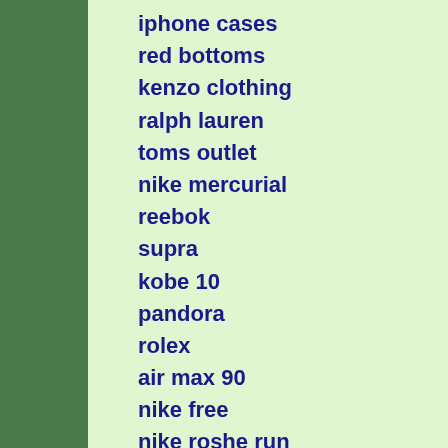iphone cases
red bottoms
kenzo clothing
ralph lauren
toms outlet
nike mercurial
reebok
supra
kobe 10
pandora
rolex
air max 90
nike free
nike roshe run
air jordan
michael kors
jordan 12s